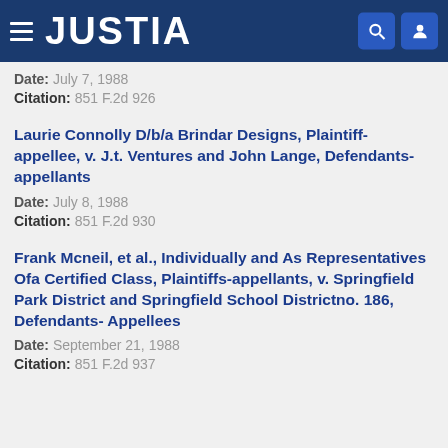JUSTIA
Date: July 7, 1988
Citation: 851 F.2d 926
Laurie Connolly D/b/a Brindar Designs, Plaintiff-appellee, v. J.t. Ventures and John Lange, Defendants-appellants
Date: July 8, 1988
Citation: 851 F.2d 930
Frank Mcneil, et al., Individually and As Representatives Ofa Certified Class, Plaintiffs-appellants, v. Springfield Park District and Springfield School Districtno. 186, Defendants- Appellees
Date: September 21, 1988
Citation: 851 F.2d 937